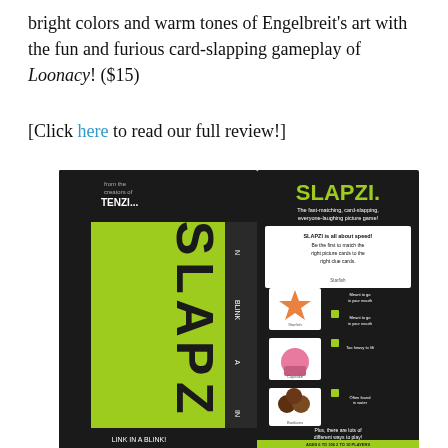bright colors and warm tones of Engelbreit's art with the fun and furious card-slapping gameplay of Loonacy! ($15)
[Click here to read our full review!]
[Figure (photo): Product photo of the SLAPZI card game box showing both the front (bright green with SLAPZI text in large black letters, 'from the creators of TENZI...', 'LINK IN A BLINK!') and back (black panel with SLAPZI branding, game description 'The fast-matching, card-slapping, everyone-laughing picture game!', instructions, sample cards showing a starfish, cupcake, and bonbons with clue cards, and player info '2 TO 10 PLAYERS', 'AGES 6 TO 106').]